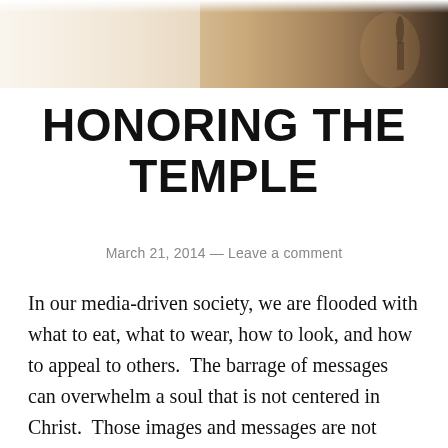[Figure (photo): Header banner image showing a dimly lit stage or outdoor scene with warm golden-brown tones and a silhouette of a figure in the background]
HONORING THE TEMPLE
March 21, 2014 — Leave a comment
In our media-driven society, we are flooded with what to eat, what to wear, how to look, and how to appeal to others.  The barrage of messages can overwhelm a soul that is not centered in Christ.  Those images and messages are not from God, yet so often are taken to heart.  "Do you not know that your